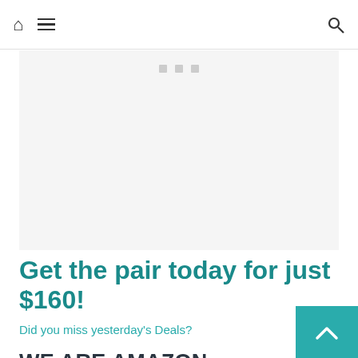Home | Menu | Search
[Figure (other): Advertisement placeholder banner with three small grey squares centered near the top]
Get the pair today for just $160!
Did you miss yesterday's Deals?
WE ARE AMAZON ASSOCIATES
Many writers on GeekDad & GeekMom are Amazon Associates, and